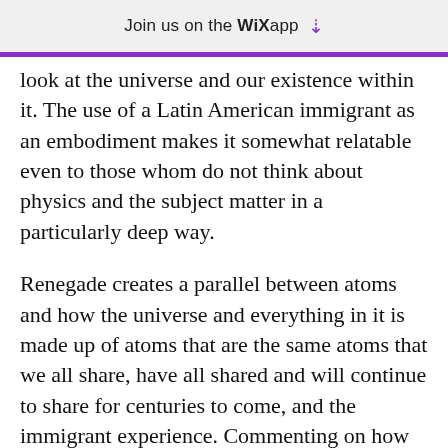Join us on the WiX app ↓
look at the universe and our existence within it. The use of a Latin American immigrant as an embodiment makes it somewhat relatable even to those whom do not think about physics and the subject matter in a particularly deep way.
Renegade creates a parallel between atoms and how the universe and everything in it is made up of atoms that are the same atoms that we all share, have all shared and will continue to share for centuries to come, and the immigrant experience. Commenting on how we are all human and are all comprised of the same atoms and yet whilst we are all